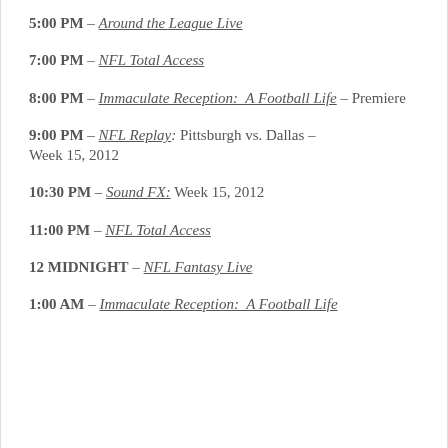5:00 PM – Around the League Live
7:00 PM – NFL Total Access
8:00 PM – Immaculate Reception: A Football Life – Premiere
9:00 PM – NFL Replay: Pittsburgh vs. Dallas – Week 15, 2012
10:30 PM – Sound FX: Week 15, 2012
11:00 PM – NFL Total Access
12 MIDNIGHT – NFL Fantasy Live
1:00 AM – Immaculate Reception: A Football Life